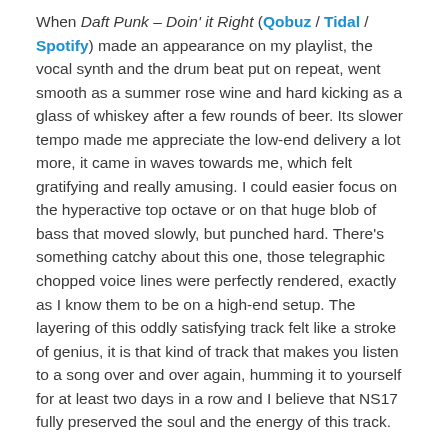When Daft Punk – Doin' it Right (Qobuz / Tidal / Spotify) made an appearance on my playlist, the vocal synth and the drum beat put on repeat, went smooth as a summer rose wine and hard kicking as a glass of whiskey after a few rounds of beer. Its slower tempo made me appreciate the low-end delivery a lot more, it came in waves towards me, which felt gratifying and really amusing. I could easier focus on the hyperactive top octave or on that huge blob of bass that moved slowly, but punched hard. There's something catchy about this one, those telegraphic chopped voice lines were perfectly rendered, exactly as I know them to be on a high-end setup. The layering of this oddly satisfying track felt like a stroke of genius, it is that kind of track that makes you listen to a song over and over again, humming it to yourself for at least two days in a row and I believe that NS17 fully preserved the soul and the energy of this track.